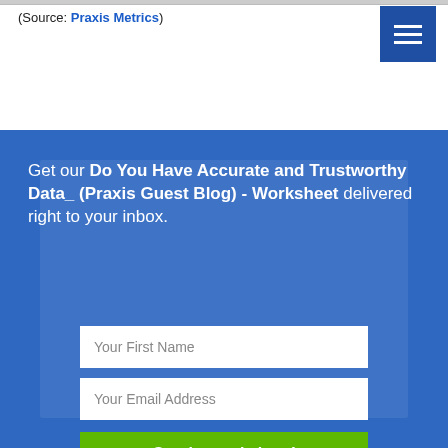(Source: Praxis Metrics)
Get our Do You Have Accurate and Trustworthy Data_ (Praxis Guest Blog) - Worksheet delivered right to your inbox.
Your First Name
Your Email Address
Get the worksheet!